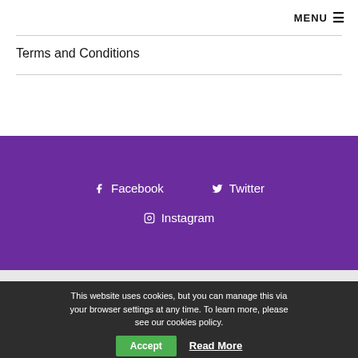MENU ≡
Terms and Conditions
f  Facebook    Twitter
Instagram
This website uses cookies, but you can manage this via your browser settings at any time. To learn more, please see our cookies policy.
Accept    Read More